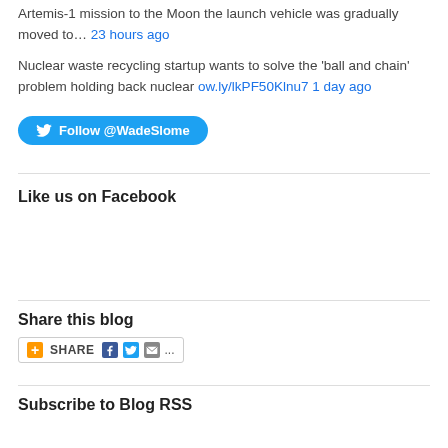Artemis-1 mission to the Moon the launch vehicle was gradually moved to… 23 hours ago
Nuclear waste recycling startup wants to solve the 'ball and chain' problem holding back nuclear ow.ly/lkPF50Klnu7 1 day ago
Follow @WadeSlome
Like us on Facebook
Share this blog
[Figure (other): Share button with Facebook, Twitter, email icons]
Subscribe to Blog RSS